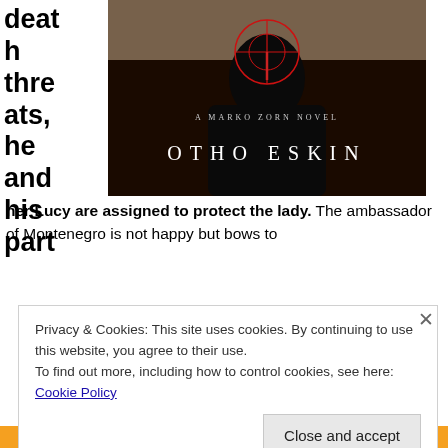[Figure (illustration): Book cover for 'A Marko Zorn Novel' by Otho Eskin. Dark background with a silhouetted figure and red crosshair/target graphic. White text reads 'A MARKO ZORN NOVEL' and 'OTHO ESKIN'.]
death threats, he and his partner Lucy are assigned to protect the lady. The ambassador of Montenegro is not happy but bows to
Privacy & Cookies: This site uses cookies. By continuing to use this website, you agree to their use.
To find out more, including how to control cookies, see here: Cookie Policy
Close and accept